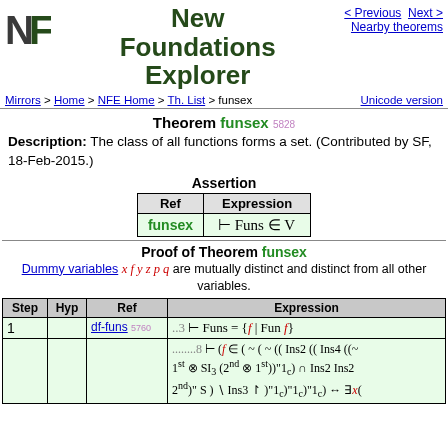New Foundations Explorer
Mirrors > Home > NFE Home > Th. List > funsex    Unicode version
Theorem funsex 5828
Description: The class of all functions forms a set. (Contributed by SF, 18-Feb-2015.)
Assertion
| Ref | Expression |
| --- | --- |
| funsex | ⊢ Funs ∈ V |
Proof of Theorem funsex
Dummy variables x f y z p q are mutually distinct and distinct from all other variables.
| Step | Hyp | Ref | Expression |
| --- | --- | --- | --- |
| 1 |  | df-funs 5760 | ..3 ⊢ Funs = {f | Fun f} |
|  |  |  | .......8 ⊢ (f ∈ ( ~ ( ~ (( Ins2 (( Ins4 ((~ 1st ⊗ SI3 (2nd ⊗ 1st))"1c) ∩ Ins2 Ins2 2nd)" S ) \ Ins3 ↾ )"1c)"1c)"1c) ↔ ∃x( |